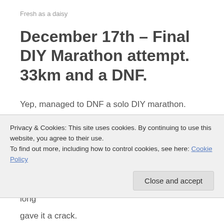Fresh as a daisy
December 17th – Final DIY Marathon attempt. 33km and a DNF.
Yep, managed to DNF a solo DIY marathon. Doh! Started at 6:45am in the freezing cold with just the tiniest sliver of sunlight appearing. Slipped around on sheet ice for the first few hours, eventually gave up at 33km after hip and knee pain finally made me stop. No sense in a long
Privacy & Cookies: This site uses cookies. By continuing to use this website, you agree to their use.
To find out more, including how to control cookies, see here: Cookie Policy
gave it a crack.